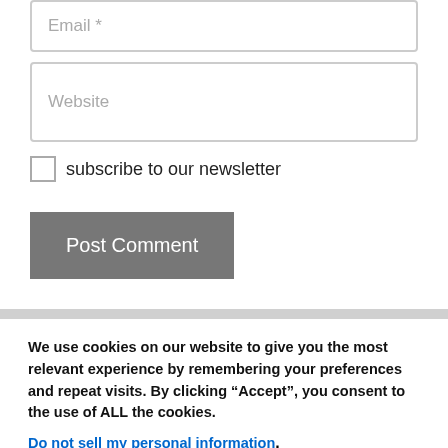Email *
Website
subscribe to our newsletter
Post Comment
We use cookies on our website to give you the most relevant experience by remembering your preferences and repeat visits. By clicking “Accept”, you consent to the use of ALL the cookies.
Do not sell my personal information.
Settings
Accept